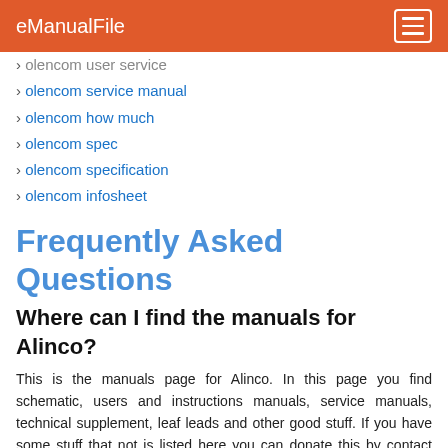eManualFile
olencom user service
olencom service manual
olencom how much
olencom spec
olencom specification
olencom infosheet
Frequently Asked Questions
Where can I find the manuals for Alinco?
This is the manuals page for Alinco. In this page you find schematic, users and instructions manuals, service manuals, technical supplement, leaf leads and other good stuff. If you have some stuff that not is listed here you can donate this by contact mods.dk.
Are there any commands that can be